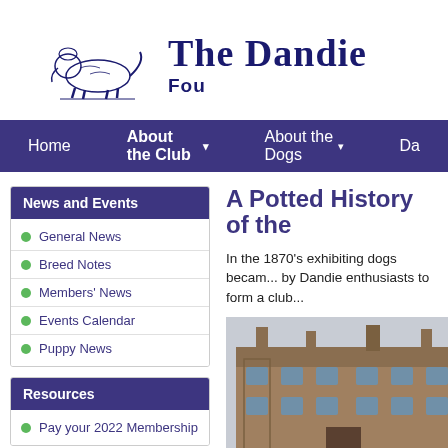[Figure (logo): Dandie Dinmont Terrier dog illustration in navy blue, and site title 'The Dandie' with 'Fou...' in old English/serif font]
Home | About the Club ▾ | About the Dogs ▾ | Da...
News and Events
General News
Breed Notes
Members' News
Events Calendar
Puppy News
Resources
Pay your 2022 Membership
A Potted History of the
In the 1870's exhibiting dogs becam... by Dandie enthusiasts to form a club...
[Figure (photo): Photograph of a stone building (Scottish townhouse/hotel), multi-story, with chimneys and bay windows]